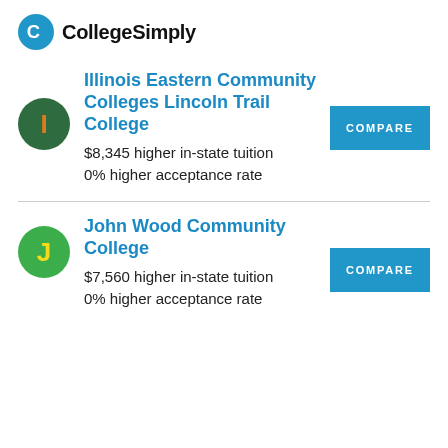CollegeSimply
Illinois Eastern Community Colleges Lincoln Trail College
$8,345 higher in-state tuition
0% higher acceptance rate
John Wood Community College
$7,560 higher in-state tuition
0% higher acceptance rate